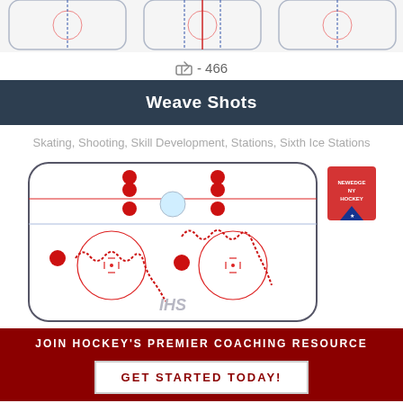[Figure (illustration): Top strip showing partial hockey rink diagrams]
👍 - 466
Weave Shots
Skating, Shooting, Skill Development, Stations, Sixth Ice Stations
[Figure (illustration): Hockey rink diagram showing Weave Shots drill with red dots indicating player positions and wavy movement lines through the offensive zone, IHS logo at bottom, NewEdge NY Rangers logo at top right]
JOIN HOCKEY'S PREMIER COACHING RESOURCE
GET STARTED TODAY!